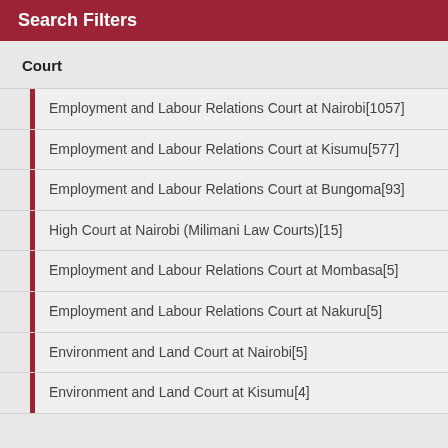Search Filters
Court
Employment and Labour Relations Court at Nairobi[1057]
Employment and Labour Relations Court at Kisumu[577]
Employment and Labour Relations Court at Bungoma[93]
High Court at Nairobi (Milimani Law Courts)[15]
Employment and Labour Relations Court at Mombasa[5]
Employment and Labour Relations Court at Nakuru[5]
Environment and Land Court at Nairobi[5]
Environment and Land Court at Kisumu[4]